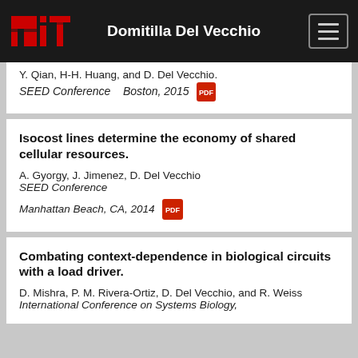Domitilla Del Vecchio
Y. Qian, H-H. Huang, and D. Del Vecchio. SEED Conference   Boston, 2015
Isocost lines determine the economy of shared cellular resources.
A. Gyorgy, J. Jimenez, D. Del Vecchio
SEED Conference
Manhattan Beach, CA, 2014
Combating context-dependence in biological circuits with a load driver.
D. Mishra, P. M. Rivera-Ortiz, D. Del Vecchio, and R. Weiss
International Conference on Systems Biology,